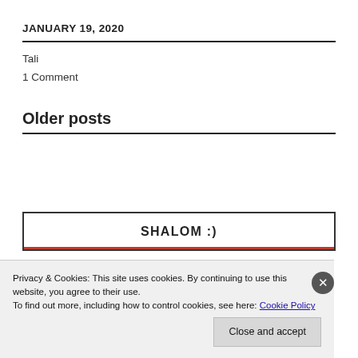JANUARY 19, 2020
Tali
1 Comment
Older posts
SHALOM :)
Privacy & Cookies: This site uses cookies. By continuing to use this website, you agree to their use.
To find out more, including how to control cookies, see here: Cookie Policy
Close and accept